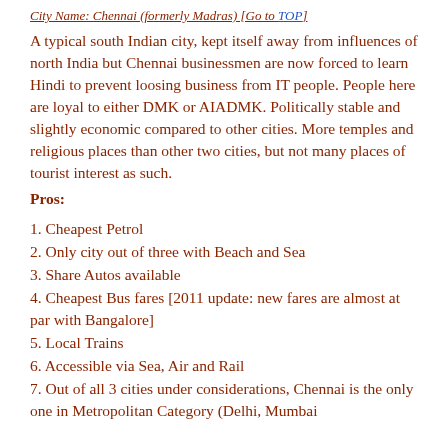City Name: Chennai (formerly Madras) [Go to TOP]
A typical south Indian city, kept itself away from influences of north India but Chennai businessmen are now forced to learn Hindi to prevent loosing business from IT people. People here are loyal to either DMK or AIADMK. Politically stable and slightly economic compared to other cities. More temples and religious places than other two cities, but not many places of tourist interest as such.
Pros:
1. Cheapest Petrol
2. Only city out of three with Beach and Sea
3. Share Autos available
4. Cheapest Bus fares [2011 update: new fares are almost at par with Bangalore]
5. Local Trains
6. Accessible via Sea, Air and Rail
7. Out of all 3 cities under considerations, Chennai is the only one in Metropolitan Category (Delhi, Mumbai